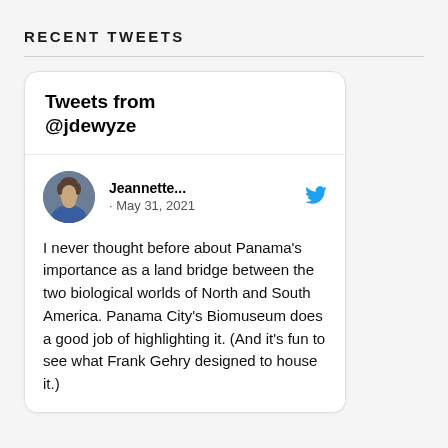RECENT TWEETS
[Figure (screenshot): Embedded Twitter widget showing tweets from @jdewyze. Contains a tweet by Jeannette dated May 31, 2021 reading: I never thought before about Panama's importance as a land bridge between the two biological worlds of North and South America. Panama City's Biomuseum does a good job of highlighting it. (And it's fun to see what Frank Gehry designed to house it.)]